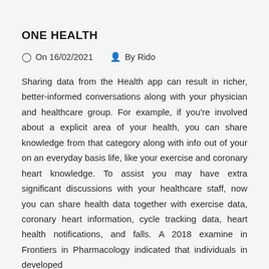ONE HEALTH
On 16/02/2021   By Rido
Sharing data from the Health app can result in richer, better-informed conversations along with your physician and healthcare group. For example, if you're involved about a explicit area of your health, you can share knowledge from that category along with info out of your on an everyday basis life, like your exercise and coronary heart knowledge. To assist you may have extra significant discussions with your healthcare staff, now you can share health data together with exercise data, coronary heart information, cycle tracking data, heart health notifications, and falls. A 2018 examine in Frontiers in Pharmacology indicated that individuals in developed